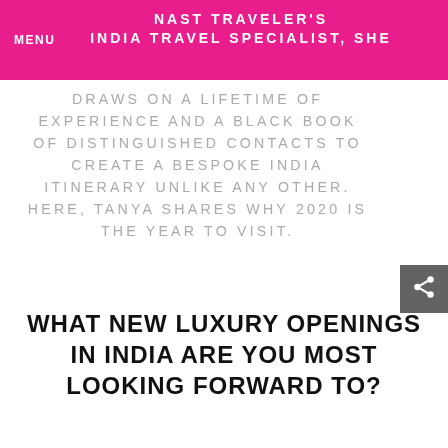NAST TRAVELER'S INDIA TRAVEL SPECIALIST, SHE
DRAWS ON A LIFETIME OF EXPERIENCE AND A BLACK BOOK OF DISTINGUISHED CONTACTS TO CREATE A BESPOKE INDIA ITINERARY UNLIKE ANY OTHER. HERE, TANYA SHARES WHY 2020 IS THE YEAR TO VISIT.
WHAT NEW LUXURY OPENINGS IN INDIA ARE YOU MOST LOOKING FORWARD TO?